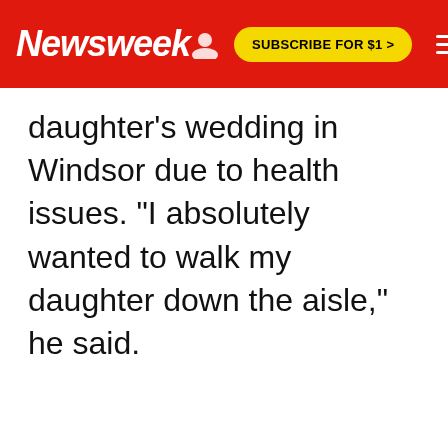Newsweek | SUBSCRIBE FOR $1 >
daughter's wedding in Windsor due to health issues. "I absolutely wanted to walk my daughter down the aisle," he said.